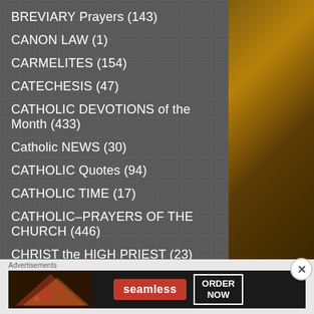BREVIARY Prayers (143)
CANON LAW (1)
CARMELITES (154)
CATECHESIS (47)
CATHOLIC DEVOTIONS of the Month (433)
Catholic NEWS (30)
CATHOLIC Quotes (94)
CATHOLIC TIME (17)
CATHOLIC–PRAYERS OF THE CHURCH (446)
CHRIST the HIGH PRIEST (23)
CHRIST the JUDGE (31)
Advertisements
[Figure (infographic): Seamless food delivery advertisement banner with pizza image, Seamless logo in red, and ORDER NOW button]